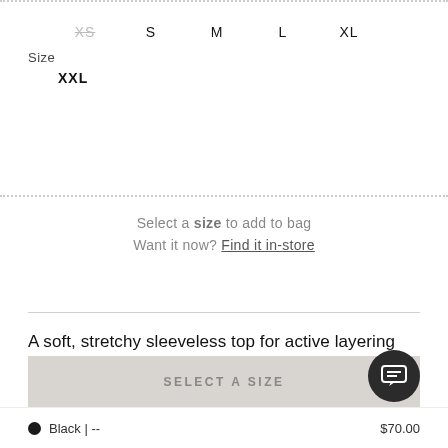XS  S  M  L  XL  XXL
Size
Select a size to add to bag
Want it now? Find it in-store
A soft, stretchy sleeveless top for active layering and everyday comfort, the slim-fit Anatomica Tank
SELECT A SIZE
Black | --  $70.00